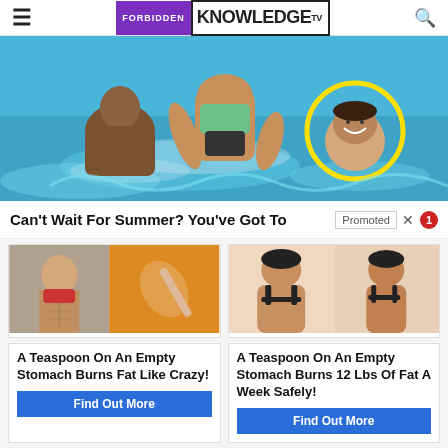Forbidden Knowledge TV
[Figure (photo): People playing in a swimming pool. A man in the water is circled in yellow.]
Can't Wait For Summer? You've Got To Di... Promoted X 1
[Figure (photo): Ad image: fit woman's abs and a spoon with spice powder]
A Teaspoon On An Empty Stomach Burns Fat Like Crazy!
Find Out More
[Figure (photo): Ad image: before and after back view of woman in black bra]
A Teaspoon On An Empty Stomach Burns 12 Lbs Of Fat A Week Safely!
Find Out More